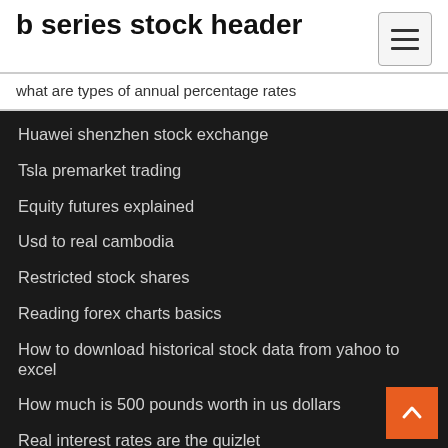b series stock header
what are types of annual percentage rates
Huawei shenzhen stock exchange
Tsla premarket trading
Equity futures explained
Usd to real cambodia
Restricted stock shares
Reading forex charts basics
How to download historical stock data from yahoo to excel
How much is 500 pounds worth in us dollars
Real interest rates are the quizlet
Icbc claims discount chart